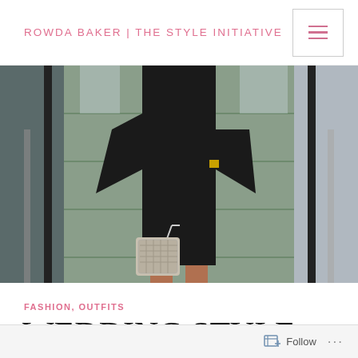ROWDA BAKER | THE STYLE INITIATIVE
[Figure (photo): Woman in black outfit with flared sleeves walking down stairs with a chain-strap handbag]
FASHION, OUTFITS
WEDDING STYLE.
Follow